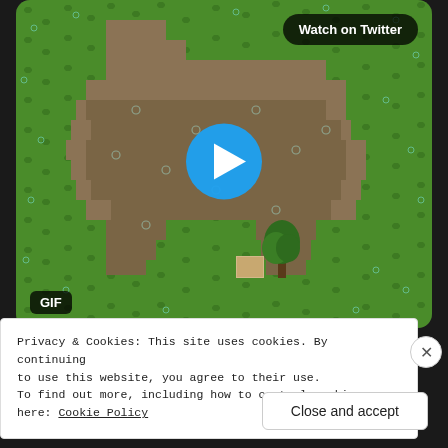[Figure (screenshot): A pixel-art style game screenshot showing a large grey/brown blob shape (resembling a llama or animal) on a green grass background. A small pixel tree and tan box are at the bottom center. A play button is centered on the image. A 'Watch on Twitter' button is in the top right. A 'GIF' label is in the bottom left.]
Privacy & Cookies: This site uses cookies. By continuing to use this website, you agree to their use.
To find out more, including how to control cookies, see here: Cookie Policy
Close and accept